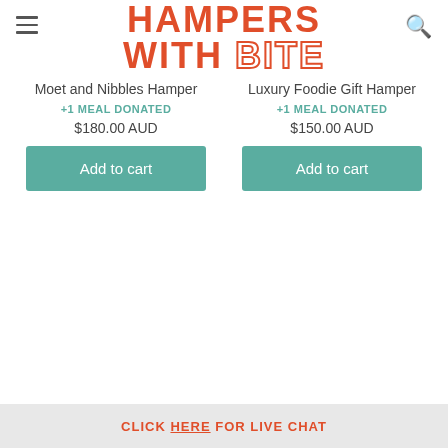HAMPERS WITH BITE
Moet and Nibbles Hamper
+1 MEAL DONATED
$180.00 AUD
Luxury Foodie Gift Hamper
+1 MEAL DONATED
$150.00 AUD
Add to cart
Add to cart
CLICK HERE FOR LIVE CHAT